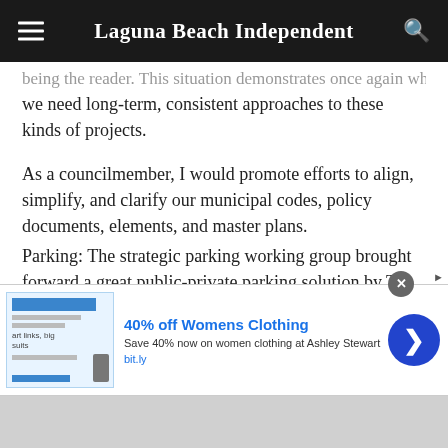Laguna Beach Independent
…being the reader. This situation demonstrates once again what we need long-term, consistent approaches to these kinds of projects.
As a councilmember, I would promote efforts to align, simplify, and clarify our municipal codes, policy documents, elements, and master plans.
Parking: The strategic parking working group brought forward a great public-private parking solution by The Montage that could be quickly implemented. This is a great starting example of small “right-fit” parking solutions. The city has
[Figure (screenshot): Advertisement banner: '40% off Womens Clothing - Save 40% now on women clothing at Ashley Stewart - bit.ly' with a blue call-to-action arrow button and a close button]